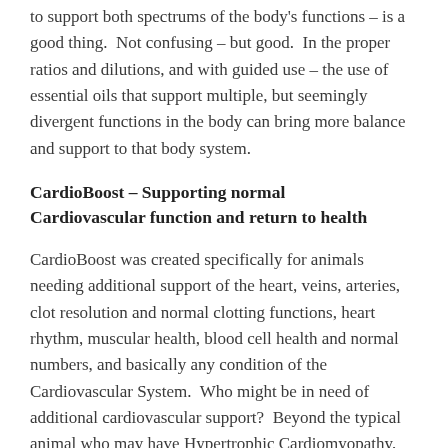to support both spectrums of the body's functions – is a good thing.  Not confusing – but good.  In the proper ratios and dilutions, and with guided use – the use of essential oils that support multiple, but seemingly divergent functions in the body can bring more balance and support to that body system.
CardioBoost – Supporting normal Cardiovascular function and return to health
CardioBoost was created specifically for animals needing additional support of the heart, veins, arteries, clot resolution and normal clotting functions, heart rhythm, muscular health, blood cell health and normal numbers, and basically any condition of the Cardiovascular System.  Who might be in need of additional cardiovascular support?  Beyond the typical animal who may have Hypertrophic Cardiomyopathy, Dilated Cardiomyopathy, heart murmurs, arrhythmias, valve defects, abnormal blood pressure, Heartworm Disease, and other conditions that affect the